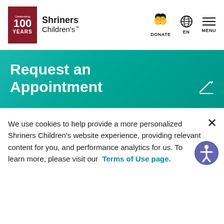Shriners Children's — Celebrating 100 YEARS — DONATE | EN | MENU
Request an Appointment
We use cookies to help provide a more personalized Shriners Children's website experience, providing relevant content for you, and performance analytics for us. To learn more, please visit our Terms of Use page.